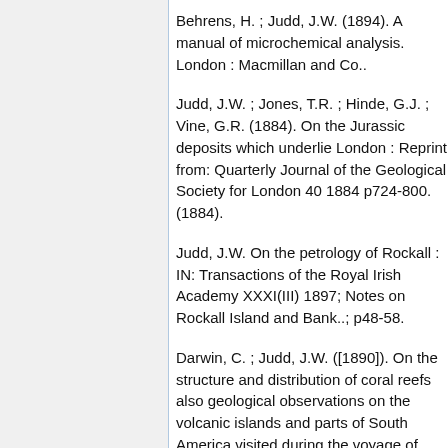Behrens, H. ; Judd, J.W. (1894). A manual of microchemical analysis. London : Macmillan and Co..
Judd, J.W. ; Jones, T.R. ; Hinde, G.J. ; Vine, G.R. (1884). On the Jurassic deposits which underlie London : Reprint from: Quarterly Journal of the Geological Society for London 40 1884 p724-800. (1884).
Judd, J.W. On the petrology of Rockall : IN: Transactions of the Royal Irish Academy XXXI(III) 1897; Notes on Rockall Island and Bank..; p48-58.
Darwin, C. ; Judd, J.W. ([1890]). On the structure and distribution of coral reefs also geological observations on the volcanic islands and parts of South America visited during the voyage of H.M.S. Beagle. London : Ward Lock.